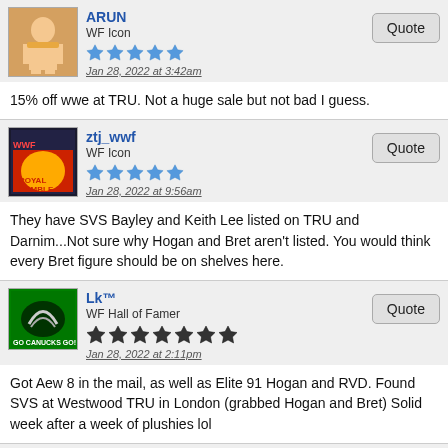ARUN
WF Icon
Jan 28, 2022 at 3:42am
15% off wwe at TRU. Not a huge sale but not bad I guess.
ztj_wwf
WF Icon
Jan 28, 2022 at 9:56am
They have SVS Bayley and Keith Lee listed on TRU and Darnim...Not sure why Hogan and Bret aren't listed. You would think every Bret figure should be on shelves here.
Lk™
WF Hall of Famer
Jan 28, 2022 at 2:11pm
Got Aew 8 in the mail, as well as Elite 91 Hogan and RVD. Found SVS at Westwood TRU in London (grabbed Hogan and Bret) Solid week after a week of plushies lol
ARUN
WF Icon
Jan 29, 2022 at 9:55pm